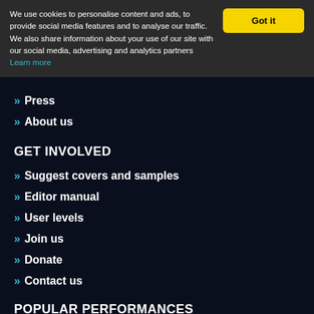We use cookies to personalise content and ads, to provide social media features and to analyse our traffic. We also share information about your use of our site with our social media, advertising and analytics partners Learn more
Press
About us
GET INVOLVED
Suggest covers and samples
Editor manual
User levels
Join us
Donate
Contact us
POPULAR PERFORMANCES
Wicked Game
Zombie
Yesterday